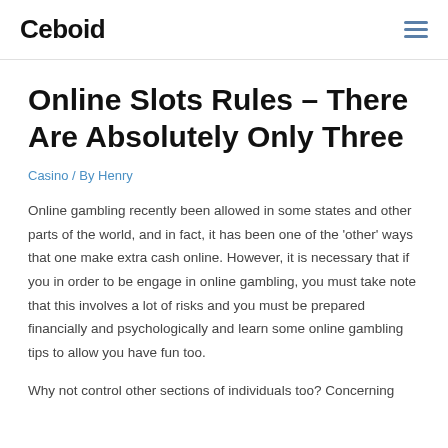Ceboid
Online Slots Rules – There Are Absolutely Only Three
Casino / By Henry
Online gambling recently been allowed in some states and other parts of the world, and in fact, it has been one of the 'other' ways that one make extra cash online. However, it is necessary that if you in order to be engage in online gambling, you must take note that this involves a lot of risks and you must be prepared financially and psychologically and learn some online gambling tips to allow you have fun too.
Why not control other sections of individuals too? Concerning